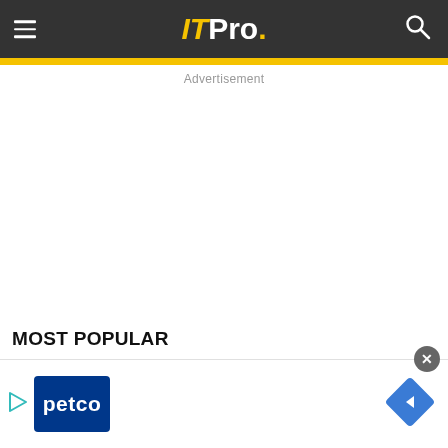ITPro.
Advertisement
MOST POPULAR
[Figure (logo): Petco advertisement banner with Petco logo, play button icon, and navigation arrow diamond icon. Close button (x) in upper right.]